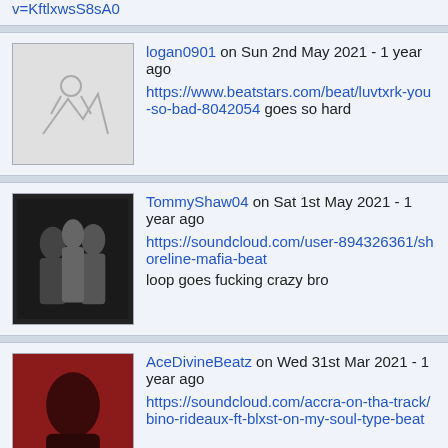v=KftlxwsS8sA0
logan0901 on Sun 2nd May 2021 - 1 year ago
https://www.beatstars.com/beat/luvtxrk-you-so-bad-8042054 goes so hard
TommyShaw04 on Sat 1st May 2021 - 1 year ago
https://soundcloud.com/user-894326361/shoreline-mafia-beat
loop goes fucking crazy bro
AceDivineBeatz on Wed 31st Mar 2021 - 1 year ago
https://soundcloud.com/accra-on-tha-track/bino-rideaux-ft-blxst-on-my-soul-type-beat